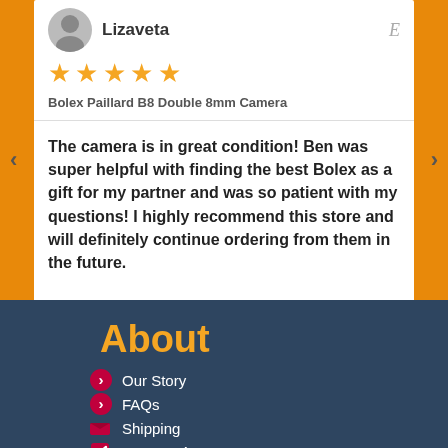Lizaveta
[Figure (other): Five gold star rating]
Bolex Paillard B8 Double 8mm Camera
The camera is in great condition! Ben was super helpful with finding the best Bolex as a gift for my partner and was so patient with my questions! I highly recommend this store and will definitely continue ordering from them in the future.
About
Our Story
FAQs
Shipping
Returns / Warranty